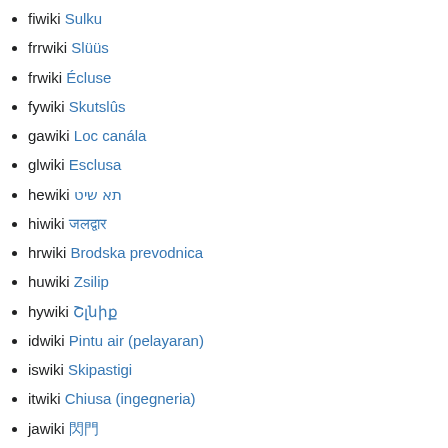fiwiki Sulku
frrwiki Slüüs
frwiki Écluse
fywiki Skutslûs
gawiki Loc canála
glwiki Esclusa
hewiki תא שיט
hiwiki जलद्वार
hrwiki Brodska prevodnica
huwiki Zsilip
hywiki Շunlq
idwiki Pintu air (pelayaran)
iswiki Skipastigi
itwiki Chiusa (ingegneria)
jawiki 閘門